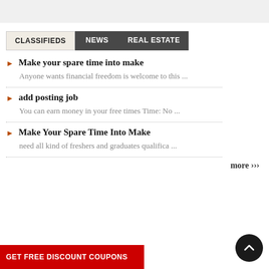CLASSIFIEDS  NEWS  REAL ESTATE
Make your spare time into make
Anyone wants financial freedom is welcome to this ...
add posting job
You can earn money in your free times Time: No ...
Make Your Spare Time Into Make
need all kind of freshers and graduates qualifica ...
more ›››
[Figure (other): Red banner at bottom reading GET FREE DISCOUNT COUPONS, and a dark circular scroll-to-top button with upward chevron arrow on the right]